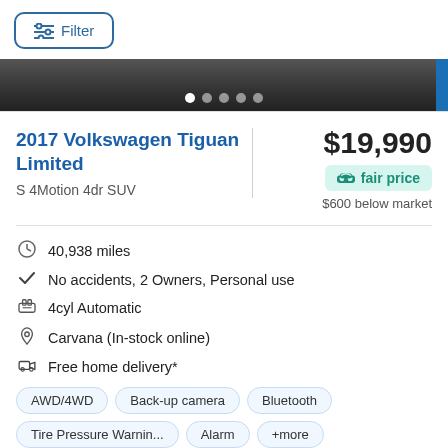Filter
[Figure (photo): Car image strip with carousel dots; bottom portion of a car photo with dark background and 5 navigation dots]
2017 Volkswagen Tiguan Limited
S 4Motion 4dr SUV
$19,990
fair price
$600 below market
40,938 miles
No accidents, 2 Owners, Personal use
4cyl Automatic
Carvana (In-stock online)
Free home delivery*
AWD/4WD   Back-up camera   Bluetooth   Tire Pressure Warnin...   Alarm   +more